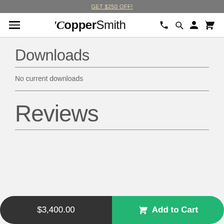GET $250 OFF!
[Figure (logo): CopperSmith brand logo with hamburger menu icon and navigation icons (phone, search, account, cart)]
Downloads
No current downloads
Reviews
$3,400.00   Add to Cart